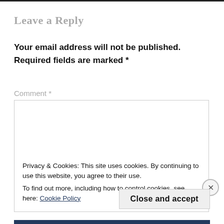Leave a Reply
Your email address will not be published. Required fields are marked *
Comment *
[Figure (screenshot): Empty comment textarea input box with light gray border]
Privacy & Cookies: This site uses cookies. By continuing to use this website, you agree to their use.
To find out more, including how to control cookies, see here: Cookie Policy
Close and accept